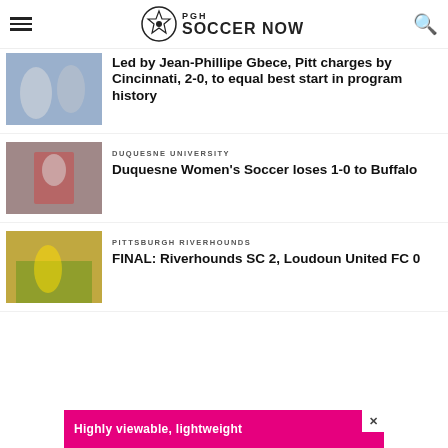PGH Soccer Now
Led by Jean-Phillipe Gbece, Pitt charges by Cincinnati, 2-0, to equal best start in program history
DUQUESNE UNIVERSITY
Duquesne Women's Soccer loses 1-0 to Buffalo
PITTSBURGH RIVERHOUNDS
FINAL: Riverhounds SC 2, Loudoun United FC 0
[Figure (infographic): Advertisement banner: Highly viewable, lightweight — pink background]
Highly viewable, lightweight